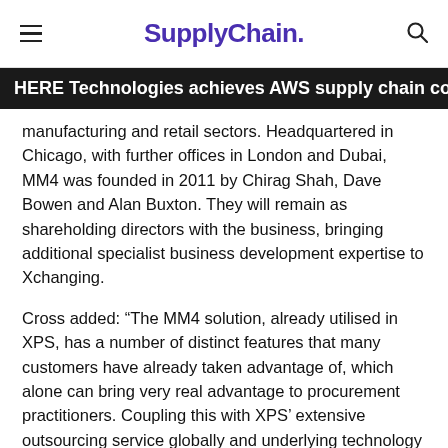SupplyChain.
HERE Technologies achieves AWS supply chain competency
manufacturing and retail sectors. Headquartered in Chicago, with further offices in London and Dubai, MM4 was founded in 2011 by Chirag Shah, Dave Bowen and Alan Buxton. They will remain as shareholding directors with the business, bringing additional specialist business development expertise to Xchanging.
Cross added: “The MM4 solution, already utilised in XPS, has a number of distinct features that many customers have already taken advantage of, which alone can bring very real advantage to procurement practitioners. Coupling this with XPS’ extensive outsourcing service globally and underlying technology solutions will ensure that the combined business continues to meet the evolving requirements of the growing procurement outsourcing marketplace